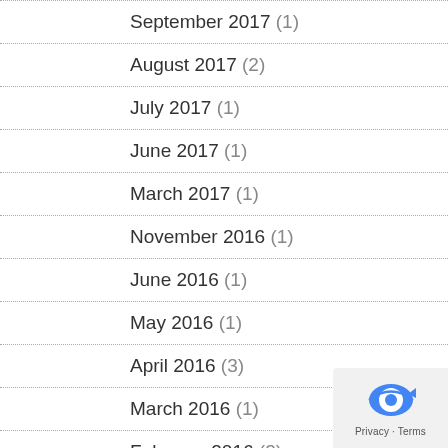September 2017 (1)
August 2017 (2)
July 2017 (1)
June 2017 (1)
March 2017 (1)
November 2016 (1)
June 2016 (1)
May 2016 (1)
April 2016 (3)
March 2016 (1)
February 2016 (2)